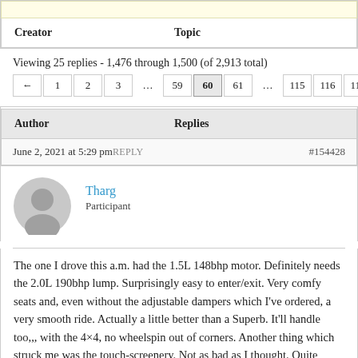| Creator | Topic |
| --- | --- |
Viewing 25 replies - 1,476 through 1,500 (of 2,913 total)
← 1 2 3 … 59 60 61 … 115 116 117 →
| Author | Replies |
| --- | --- |
| June 2, 2021 at 5:29 pm REPLY | #154428 |
Tharg
Participant
The one I drove this a.m. had the 1.5L 148bhp motor. Definitely needs the 2.0L 190bhp lump. Surprisingly easy to enter/exit. Very comfy seats and, even without the adjustable dampers which I've ordered, a very smooth ride. Actually a little better than a Superb. It'll handle too,,, with the 4×4, no wheelspin out of corners. Another thing which struck me was the touch-screenery. Not as bad as I thought. Quite intuitive to use